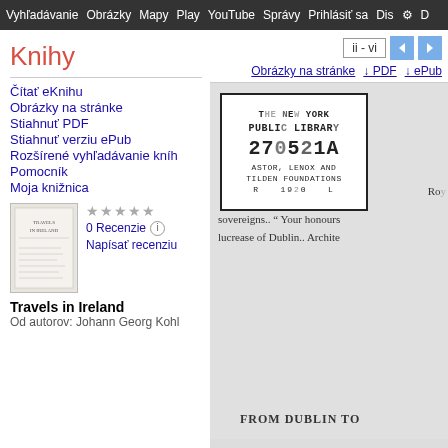Vyhľadávanie  Obrázky  Mapy  Play  YouTube  Správy  Prihlásiť sa  Dis  D
Knihy
ii - vi
Obrázky na stránke  ↓ PDF  ↓ ePub
Čítať eKnihu
Obrázky na stránke
Stiahnuť PDF
Stiahnuť verziu ePub
Rozšírené vyhľadávanie kníh
Pomocník
Moja knižnica
[Figure (other): New York Public Library stamp: THE NEW YORK PUBLIC LIBRARY 270521A ASTOR, LENOX AND TILDEN FOUNDATIONS R 1920 L]
sovereigns.. " Your honours lucrease of Dublin.. Archite
FROM DUBLIN TO
[Figure (other): Thumbnail of book cover for Travels in Ireland]
★★★★★
0 Recenzie ⓘ
Napísať recenziu
Travels in Ireland
Od autorov: Johann Georg Kohl